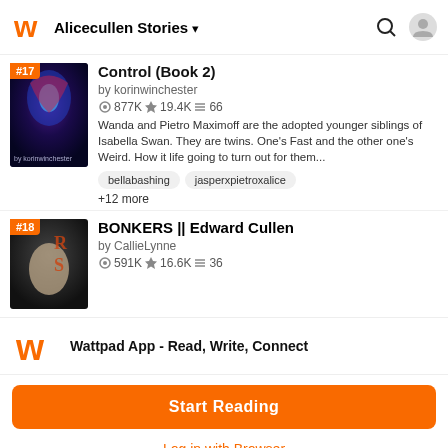Alicecullen Stories
[Figure (screenshot): Story item #17: Control (Book 2) with dark fantasy cover showing a woman in blue energy]
Control (Book 2)
by korinwinchester
877K ★19.4K ≡66
Wanda and Pietro Maximoff are the adopted younger siblings of Isabella Swan. They are twins. One's Fast and the other one's Weird. How it life going to turn out for them...
bellabashing
jasperxpietroxalice
+12 more
[Figure (screenshot): Story item #18: BONKERS || Edward Cullen with dark cover showing a blonde woman]
BONKERS || Edward Cullen
by CallieLynne
591K ★16.6K ≡36
Wattpad App - Read, Write, Connect
Start Reading
Log in with Browser